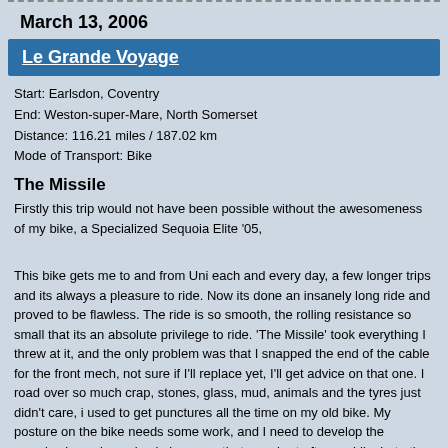March 13, 2006
Le Grande Voyage
Start: Earlsdon, Coventry
End: Weston-super-Mare, North Somerset
Distance: 116.21 miles / 187.02 km
Mode of Transport: Bike
The Missile
Firstly this trip would not have been possible without the awesomeness of my bike, a Specialized Sequoia Elite '05,
This bike gets me to and from Uni each and every day, a few longer trips and its always a pleasure to ride. Now its done an insanely long ride and proved to be flawless. The ride is so smooth, the rolling resistance so small that its an absolute privilege to ride. 'The Missile' took everything I threw at it, and the only problem was that I snapped the end of the cable for the front mech, not sure if I'll replace yet, I'll get advice on that one. I road over so much crap, stones, glass, mud, animals and the tyres just didn't care, i used to get punctures all the time on my old bike. My posture on the bike needs some work, and I need to develop the muscles in my lower back, because that area hurt after a while, but other than that no problems.